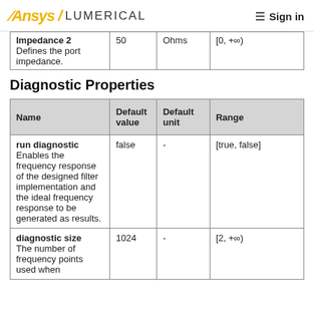Ansys / LUMERICAL   Sign in
| Name | Default value | Default unit | Range |
| --- | --- | --- | --- |
| Impedance 2
Defines the port impedance. | 50 | Ohms | [0, +∞) |
Diagnostic Properties
| Name | Default value | Default unit | Range |
| --- | --- | --- | --- |
| run diagnostic
Enables the frequency response of the designed filter implementation and the ideal frequency response to be generated as results. | false | - | [true, false] |
| diagnostic size
The number of frequency points used when | 1024 | - | [2, +∞) |